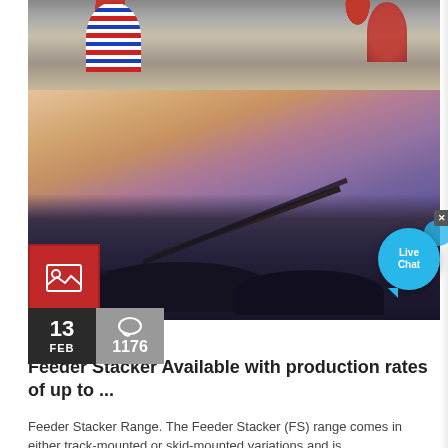[Figure (photo): Two-part industrial image: top shows stone crusher machinery with red/white/blue striped silos; bottom shows quarry/mining site at dusk/dawn with heavy equipment silhouettes against a pink-purple sky.]
Live Chat
[Figure (photo): Red box with white landscape/image icon (mountain and sun symbol)]
13
FEB
1176
Feeder Stacker Available with production rates of up to ...
Feeder Stacker Range. The Feeder Stacker (FS) range comes in either track-mounted or skid-mounted variations and is